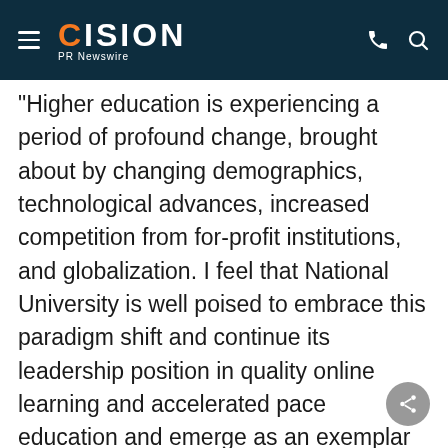CISION PR Newswire
"Higher education is experiencing a period of profound change, brought about by changing demographics, technological advances, increased competition from for-profit institutions, and globalization. I feel that National University is well poised to embrace this paradigm shift and continue its leadership position in quality online learning and accelerated pace education and emerge as an exemplar of excellence of contemporary higher education. I am very thankful for this opportunity and look forward to working with and learning from Chancellor Lee, the Board, and all the extraordinary faculty and staff at National University," said Dr.